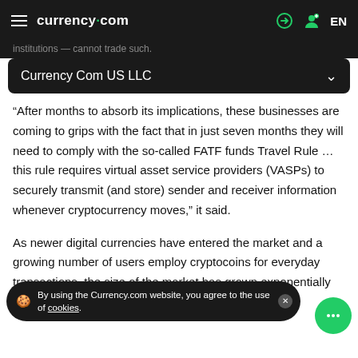currency.com  EN
institutions — cannot trade such.
Currency Com US LLC
“After months to absorb its implications, these businesses are coming to grips with the fact that in just seven months they will need to comply with the so-called FATF funds Travel Rule … this rule requires virtual asset service providers (VASPs) to securely transmit (and store) sender and receiver information whenever cryptocurrency moves,” it said.
As newer digital currencies have entered the market and a growing number of users employ cryptocoins for everyday transactions, the size of the market has grown exponentially and with it, so has the scale of crypto-related crime.
By using the Currency.com website, you agree to the use of cookies.